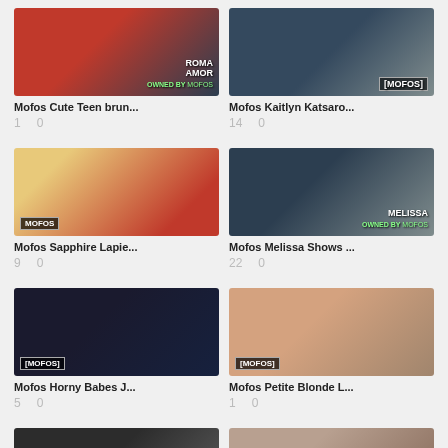[Figure (photo): Mofos video thumbnail: Roma Amor, woman in red top]
Mofos Cute Teen brun...
1   0
[Figure (photo): Mofos video thumbnail: Kaitlyn Katsaro, tattooed woman]
Mofos Kaitlyn Katsaro...
14   0
[Figure (photo): Mofos video thumbnail: Sapphire Lapie, gym scene]
Mofos Sapphire Lapie...
9   0
[Figure (photo): Mofos video thumbnail: Melissa Shows, Melissa text overlay]
Mofos Melissa Shows ...
22   0
[Figure (photo): Mofos video thumbnail: Horny Babes, dark scene]
Mofos Horny Babes J...
5   0
[Figure (photo): Mofos video thumbnail: Petite Blonde, light scene]
Mofos Petite Blonde L...
1   0
[Figure (photo): Mofos video thumbnail: partial view bottom left]
[Figure (photo): Mofos video thumbnail: partial view bottom right]